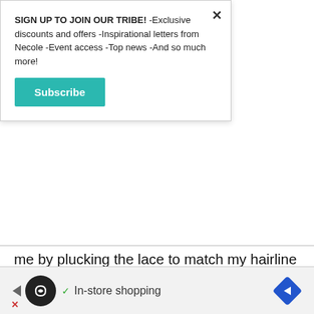SIGN UP TO JOIN OUR TRIBE! -Exclusive discounts and offers -Inspirational letters from Necole -Event access -Top news -And so much more!
[Figure (other): Teal Subscribe button]
me by plucking the lace to match my hairline and then she added some products to enhance the already fire curl patterns. She did comment about the color of the lace as it has a darker hue but it didn't end up needing any makeup or concealer. When completing the look, she told me she approved of this hair vendor because the quality of
[Figure (other): Advertisement bar at the bottom with a circular icon, In-store shopping text, and a blue diamond navigation icon]